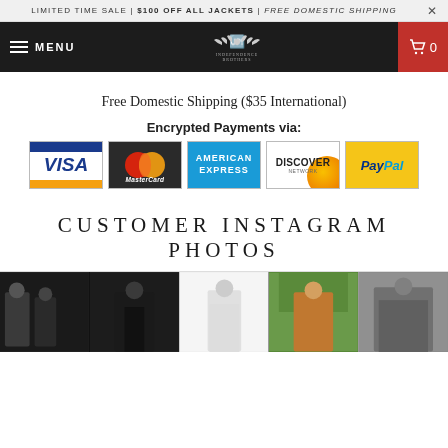LIMITED TIME SALE | $100 OFF ALL JACKETS | FREE DOMESTIC SHIPPING ×
MENU | Independence Brothers | 0
Free Domestic Shipping ($35 International)
Encrypted Payments via:
[Figure (illustration): Payment method logos: Visa, MasterCard, American Express, Discover Network, PayPal]
CUSTOMER INSTAGRAM PHOTOS
[Figure (photo): Row of customer Instagram photos showing people wearing jackets]